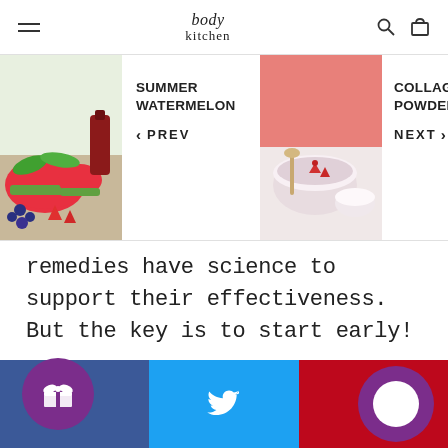body kitchen
[Figure (screenshot): Navigation strip showing two product images: Summer Watermelon (left, with fruit photo) and Collagen Powder (right, with bowl photo), with PREV and NEXT navigation buttons]
remedies have science to support their effectiveness. But the key is to start early!
WRITTEN BY CUSTOMER SERVICE
[Figure (infographic): Social sharing bar with Facebook (blue, f icon), Twitter (light blue, bird icon), Pinterest (red, P icon) buttons, plus a purple gift reward circle button at bottom-left and a purple chat bubble circle button at bottom-right]